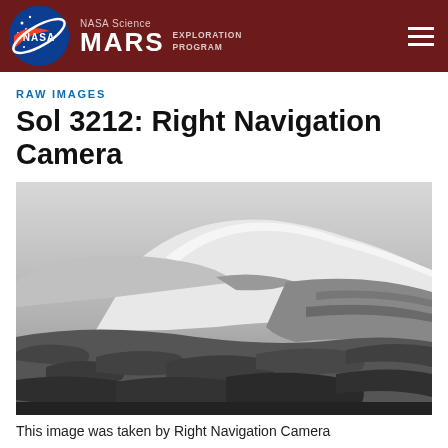NASA Science MARS EXPLORATION PROGRAM
RAW IMAGES
Sol 3212: Right Navigation Camera
[Figure (photo): Black and white photograph taken by Mars Right Navigation Camera showing rocky Martian terrain with a large hill or mountain slope in the background and rocky ground in the foreground, under a light sky.]
This image was taken by Right Navigation Camera